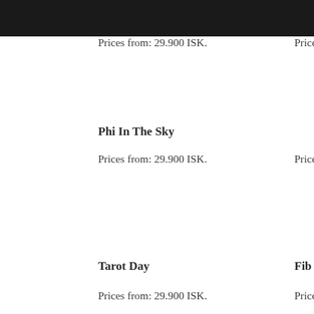Prices from: 29.900 ISK.
Phi In The Sky
Prices from: 29.900 ISK.
Price
Tarot Day
Fib
Prices from: 29.900 ISK.
Price
Return To Default
Prices from: 29.900 ISK.
Price